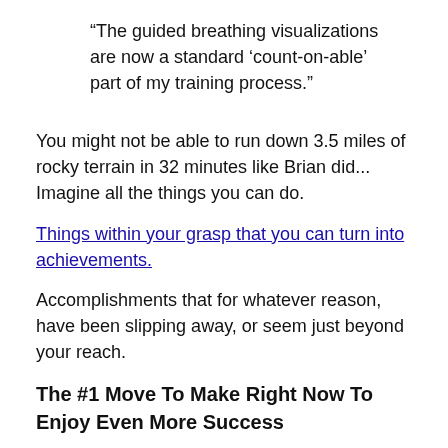“The guided breathing visualizations are now a standard ‘count-on-able’ part of my training process.”
You might not be able to run down 3.5 miles of rocky terrain in 32 minutes like Brian did... Imagine all the things you can do.
Things within your grasp that you can turn into achievements.
Accomplishments that for whatever reason, have been slipping away, or seem just beyond your reach.
The #1 Move To Make Right Now To Enjoy Even More Success